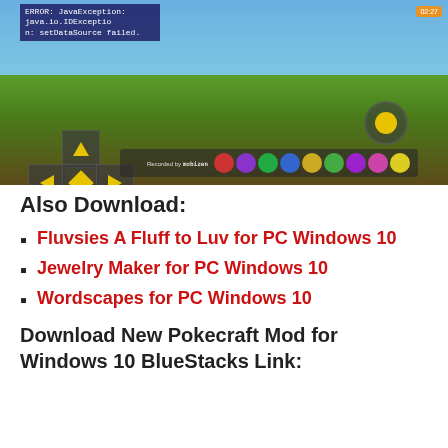[Figure (screenshot): Minecraft Pocket Edition gameplay screenshot showing a character with teal helmet in a grassy field, with on-screen d-pad controls, hotbar items at the bottom, error message overlay in top-left reading 'ERROR: JavaException: java.io.IDException: setDataSource failed', Mobizen recording watermark, and timer showing 02:27.]
Also Download:
Fluvsies A Fluff to Luv for PC Windows 10
Jewelry Maker for PC Windows 10
Wordscapes for PC Windows 10
Download New Pokecraft Mod for Windows 10 BlueStacks Link: